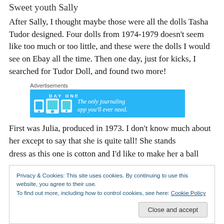Sweet youth Sally
After Sally, I thought maybe those were all the dolls Tasha Tudor designed. Four dolls from 1974-1979 doesn't seem like too much or too little, and these were the dolls I would see on Ebay all the time. Then one day, just for kicks, I searched for Tudor Doll, and found two more!
[Figure (other): Advertisement banner for DAY ONE journaling app with blue background and text 'The only journaling app you'll ever need.']
First was Julia, produced in 1973. I don't know much about her except to say that she is quite tall! She stands
Privacy & Cookies: This site uses cookies. By continuing to use this website, you agree to their use.
To find out more, including how to control cookies, see here: Cookie Policy
dress as this one is cotton and I'd like to make her a ball